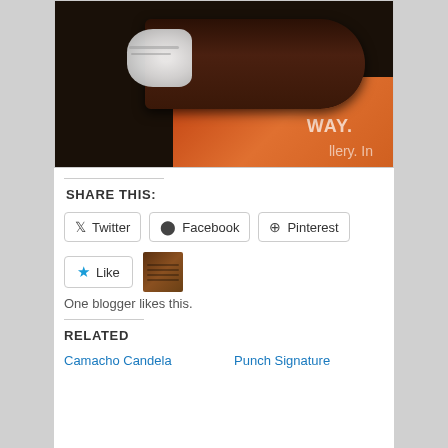[Figure (photo): Close-up photo of a partially smoked dark cigar with white ash on the left end, resting on what appears to be a colorful background with partial text visible reading 'WAY.' and 'llery. In']
SHARE THIS:
Twitter  Facebook  Pinterest
Like  One blogger likes this.
RELATED
Camacho Candela  Punch Signature